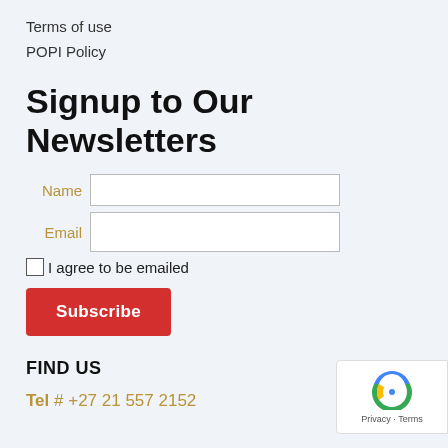Terms of use
POPI Policy
Signup to Our Newsletters
Name [input field]
Email [input field]
I agree to be emailed
Subscribe
FIND US
Tel # +27 21 557 2152